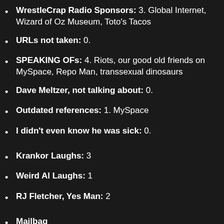WrestleCrap Radio Sponsors: 3. Global Internet, Wizard of Oz Museum, Toto's Tacos
URLs not taken: 0.
SPEAKING OFs: 4. Riots, our good old friends on MySpace, Repo Man, transsexual dinosaurs
Dave Meltzer, not talking about: 0.
Outdated references: 1. MySpace
I didn't even know he was sick: 0.
Krankor Laughs: 3
Weird Al Laughs: 1
RJ Fletcher, Yes Man: 2
Mailbag
OT (2): On last week's radio show during the talk of Krankor Rla...